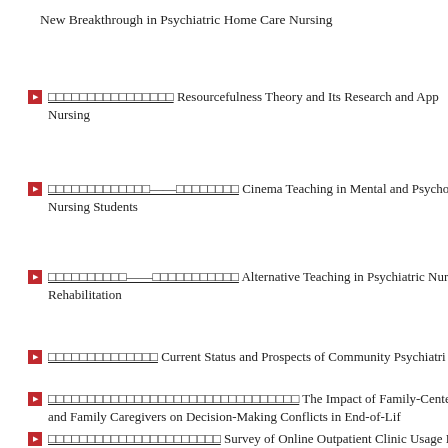New Breakthrough in Psychiatric Home Care Nursing
[CJK characters] Resourcefulness Theory and Its Research and App... Nursing
[CJK characters]——[CJK characters] Cinema Teaching in Mental and Psycholo... Nursing Students
[CJK characters]——[CJK characters] Alternative Teaching in Psychiatric Nursing... Rehabilitation
[CJK characters] Current Status and Prospects of Community Psychiatri...
[CJK characters] The Impact of Family-Centered Adv... and Family Caregivers on Decision-Making Conflicts in End-of-Lif...
[CJK characters] Survey of Online Outpatient Clinic Usage Ex... Retreatment